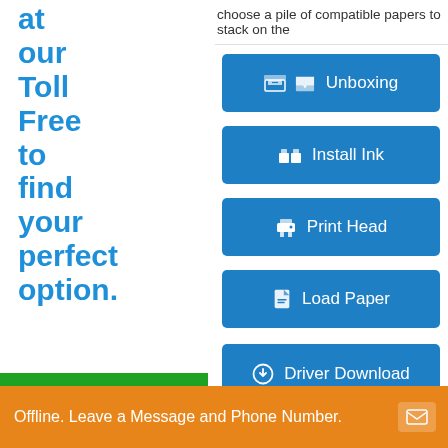choose a pile of compatible papers to stack on the
at our Toll Free to find your perfect option.
[Figure (screenshot): Blue button labeled 'Unboxing' with inbox icon]
[Figure (screenshot): Blue button labeled 'Install Ink' with ink cartridge icon]
[Figure (screenshot): Blue button labeled 'Print Head' with printer icon]
[Figure (screenshot): Blue button labeled 'Load Paper' with paper icon]
[Figure (screenshot): Blue button labeled 'Driver Download' with download circle icon]
ownload & Install driver for HP Smart
Click to Call
Offline. Leave a Message and Phone Number.